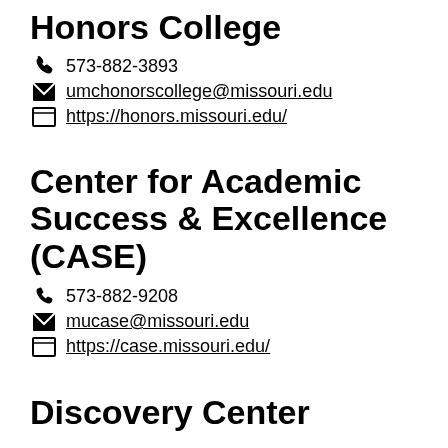Honors College
573-882-3893
umchonorscollege@missouri.edu
https://honors.missouri.edu/
Center for Academic Success & Excellence (CASE)
573-882-9208
mucase@missouri.edu
https://case.missouri.edu/
Discovery Center